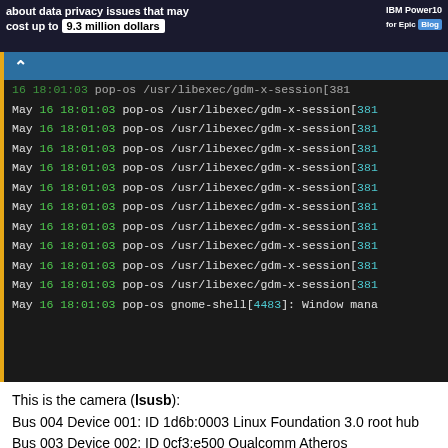about data privacy issues that may cost up to 9.3 million dollars | IBM Power10 for Epic Blog
[Figure (screenshot): Terminal output showing repeated log lines: 'May 16 18:01:03 pop-os /usr/libexec/gdm-x-session[381' and a final line 'May 16 18:01:03 pop-os gnome-shell[4483]: Window mana']
This is the camera (lsusb): Bus 004 Device 001: ID 1d6b:0003 Linux Foundation 3.0 root hub Bus 003 Device 002: ID 0cf3:e500 Qualcomm Atheros Communications Bus 003 Device 001: ID 1d6b:0002 Linux Foundation 2.0 root hub Bus 002 Device 001: ID 1d6b:0003 Linux Foundation 3.0 root